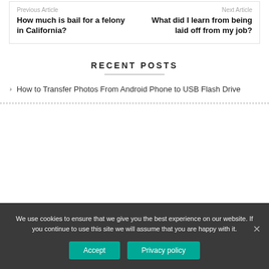Previous Article
How much is bail for a felony in California?
Next Article
What did I learn from being laid off from my job?
RECENT POSTS
How to Transfer Photos From Android Phone to USB Flash Drive
We use cookies to ensure that we give you the best experience on our website. If you continue to use this site we will assume that you are happy with it.
Accept
Privacy policy